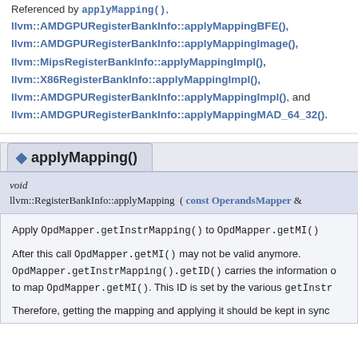Referenced by applyMapping(),
llvm::AMDGPURegisterBankInfo::applyMappingBFE(),
llvm::AMDGPURegisterBankInfo::applyMappingImage(),
llvm::MipsRegisterBankInfo::applyMappingImpl(),
llvm::X86RegisterBankInfo::applyMappingImpl(),
llvm::AMDGPURegisterBankInfo::applyMappingImpl(), and
llvm::AMDGPURegisterBankInfo::applyMappingMAD_64_32().
applyMapping()
void
llvm::RegisterBankInfo::applyMapping ( const OperandsMapper &
Apply OpdMapper.getInstrMapping() to OpdMapper.getMI()
After this call OpdMapper.getMI() may not be valid anymore. OpdMapper.getInstrMapping().getID() carries the information o to map OpdMapper.getMI(). This ID is set by the various getInstr
Therefore, getting the mapping and applying it should be kept in sync